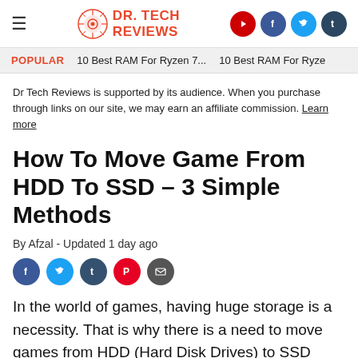DR. TECH REVIEWS
POPULAR   10 Best RAM For Ryzen 7...   10 Best RAM For Ryze
Dr Tech Reviews is supported by its audience. When you purchase through links on our site, we may earn an affiliate commission. Learn more
How To Move Game From HDD To SSD – 3 Simple Methods
By Afzal - Updated 1 day ago
In the world of games, having huge storage is a necessity. That is why there is a need to move games from HDD (Hard Disk Drives) to SSD (Solid State Drives). HDDs are cheaper than SSDs, but